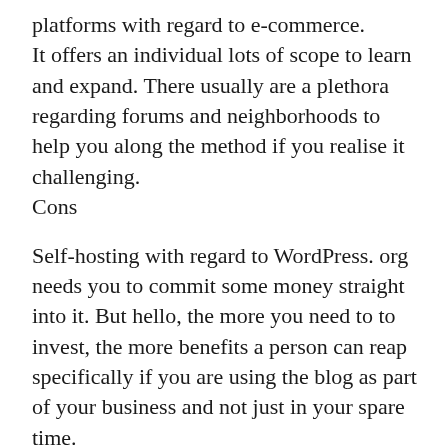platforms with regard to e-commerce. It offers an individual lots of scope to learn and expand. There usually are a plethora regarding forums and neighborhoods to help you along the method if you realise it challenging.
Cons
Self-hosting with regard to WordPress. org needs you to commit some money straight into it. But hello, the more you need to to invest, the more benefits a person can reap specifically if you are using the blog as part of your business and not just in your spare time. Limited plugins and designs are available for Blogger. com but is definitely still very much at par along with other running a blog platforms.